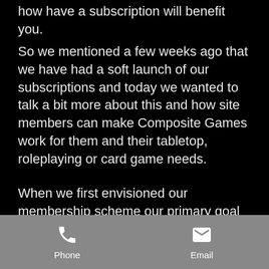how have a subscription will benefit you.
So we mentioned a few weeks ago that we have had a soft launch of our subscriptions and today we wanted to talk a bit more about this and how site members can make Composite Games work for them and their tabletop, roleplaying or card game needs.
When we first envisioned our membership scheme our primary goal was to create a model that would entice customers to join our site and help create a community and help generate a direct line of income that could be used to cover the cost of rent and staff
Phone   Email